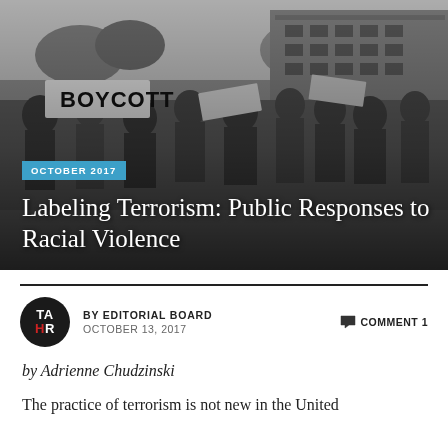[Figure (photo): Black and white photograph of a civil rights protest/march with people holding signs including one reading BOYCOTT, in front of a large brick building]
OCTOBER 2017
Labeling Terrorism: Public Responses to Racial Violence
BY EDITORIAL BOARD
OCTOBER 13, 2017
COMMENT 1
by Adrienne Chudzinski
The practice of terrorism is not new in the United